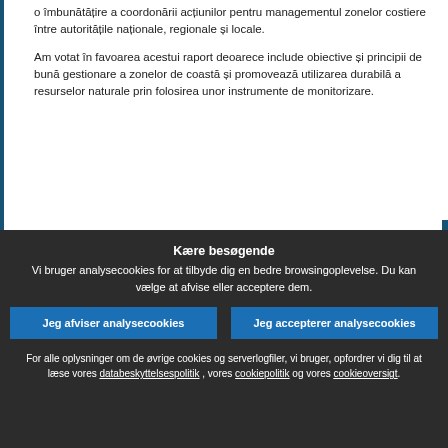o îmbunătățire a coordonării acțiunilor pentru managementul zonelor costiere între autoritățile naționale, regionale și locale.
Am votat în favoarea acestui raport deoarece include obiective și principii de bună gestionare a zonelor de coastă și promovează utilizarea durabilă a resurselor naturale prin folosirea unor instrumente de monitorizare.
Mário David (PPE), por escrito. – Voto favoravelmente a proposta de conclusão do Protocolo sobre a Gestão Integrada da Zona Costeira do Mediterrâneo. A Convenção de Barcelona é o reflexo de uma preocupação comum entre todos os países que partilham as zonas costeiras do Mediterrâneo, por uma gestão integrada e sustentada
Kære besøgende
Vi bruger analysecookies for at tilbyde dig en bedre browsingoplevelse. Du kan vælge at afvise eller acceptere dem.
Jeg afviser analysecookies
Jeg accepterer analysecookies
For alle oplysninger om de øvrige cookies og serverlogfiler, vi bruger, opfordrer vi dig til at læse vores databeskyttelsespolitik , vores cookiepolitik og vores cookieoversigt.